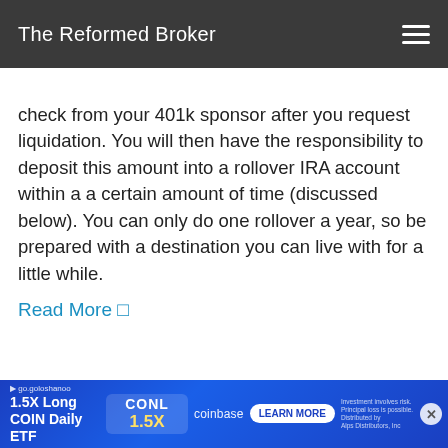The Reformed Broker
check from your 401k sponsor after you request liquidation. You will then have the responsibility to deposit this amount into a rollover IRA account within a a certain amount of time (discussed below). You can only do one rollover a year, so be prepared with a destination you can live with for a little while.
Read More →
[Figure (infographic): Advertisement banner for CONL 1.5X Long COIN Daily ETF on Coinbase with Learn More button]